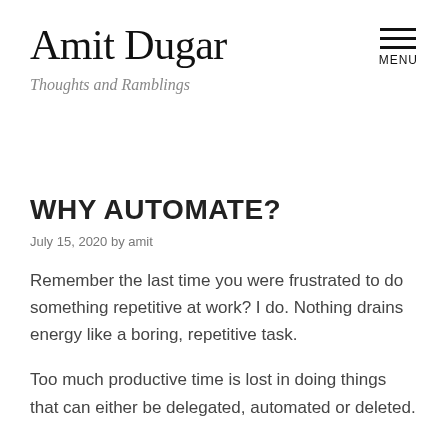Amit Dugar
Thoughts and Ramblings
WHY AUTOMATE?
July 15, 2020 by amit
Remember the last time you were frustrated to do something repetitive at work? I do. Nothing drains energy like a boring, repetitive task.
Too much productive time is lost in doing things that can either be delegated, automated or deleted.